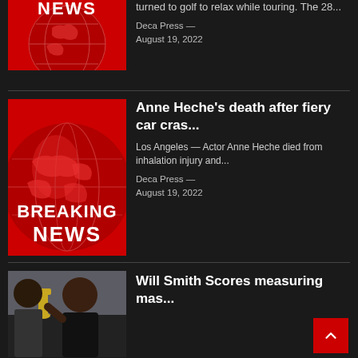[Figure (screenshot): News app article list showing three news items: a partially visible article with a Breaking News thumbnail, the full Anne Heche death article with Breaking News thumbnail, and a partially visible Will Smith article with a photo.]
turned to golf to relax while touring. The 28... Deca Press — August 19, 2022
[Figure (illustration): Breaking News globe graphic — red background with white globe and text BREAKING NEWS in large white bold letters]
Anne Heche's death after fiery car cras...
Los Angeles — Actor Anne Heche died from inhalation injury and...
Deca Press — August 19, 2022
[Figure (photo): Photo of Will Smith holding an Oscar/trophy]
Will Smith Scores measuring mas...